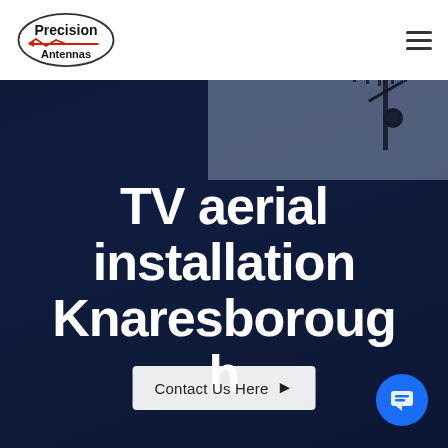[Figure (logo): Precision Antennas logo — oval outline with company name and red arrow/wave graphic]
[Figure (photo): Dark blue night sky background with antenna/dish silhouette in top right]
TV aerial installation Knaresborough
Contact Us Here